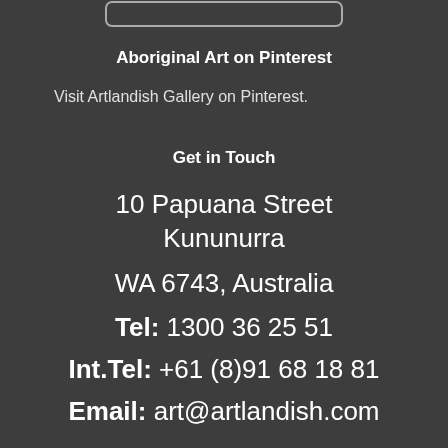[Figure (other): Rounded rectangle button/widget outline at the top of the page]
Aboriginal Art on Pinterest
Visit Artlandish Gallery on Pinterest.
Get in Touch
10 Papuana Street
Kununurra
WA 6743, Australia
Tel: 1300 36 25 51
Int.Tel: +61 (8)91 68 18 81
Email: art@artlandish.com